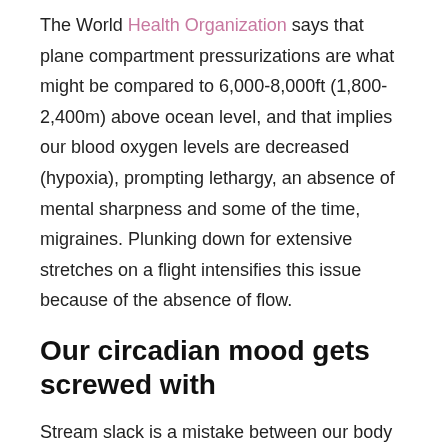The World Health Organization says that plane compartment pressurizations are what might be compared to 6,000-8,000ft (1,800-2,400m) above ocean level, and that implies our blood oxygen levels are decreased (hypoxia), prompting lethargy, an absence of mental sharpness and some of the time, migraines. Plunking down for extensive stretches on a flight intensifies this issue because of the absence of flow.
Our circadian mood gets screwed with
Stream slack is a mistake between our body clock (which manages everything from your psychological self to, in any event, when you want to utilize the restroom) and the constant in the